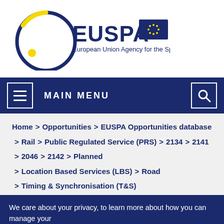[Figure (logo): EUSPA logo with circular blue and yellow ring, yellow dot, EUSPA text in dark blue, EU flag (blue rectangle with yellow stars), and tagline 'European Union Agency for the Space Programme']
MAIN MENU
Home > Opportunities > EUSPA Opportunities database > Rail > Public Regulated Service (PRS) > 2134 > 2141 > 2046 > 2142 > Planned > Location Based Services (LBS) > Road > Timing & Synchronisation (T&S)
We care about your privacy, to learn more about how you can manage your consent in relation to cookies and analytics click here